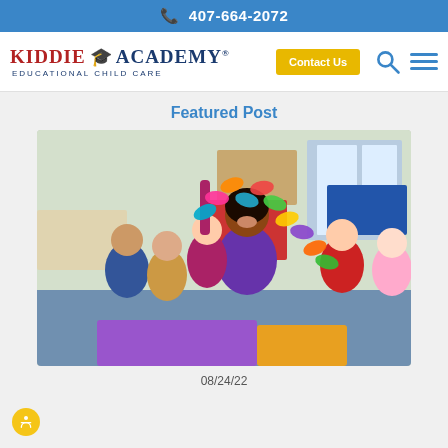407-664-2072
[Figure (logo): Kiddie Academy Educational Child Care logo with graduation cap icon]
Featured Post
[Figure (photo): Teacher and children in a classroom playing with a colorful paper chain craft activity]
08/24/22